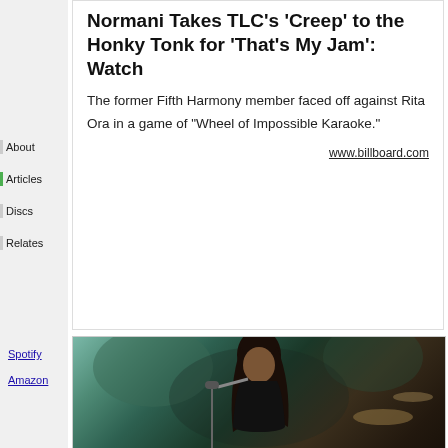Normani Takes TLC's 'Creep' to the Honky Tonk for 'That's My Jam': Watch
The former Fifth Harmony member faced off against Rita Ora in a game of "Wheel of Impossible Karaoke."
www.billboard.com
About
Articles
Discs
Relates
Spotify
Amazon
[Figure (photo): A young Black woman with long dark hair singing into a microphone, wearing a black off-shoulder top, with a dark industrial background]